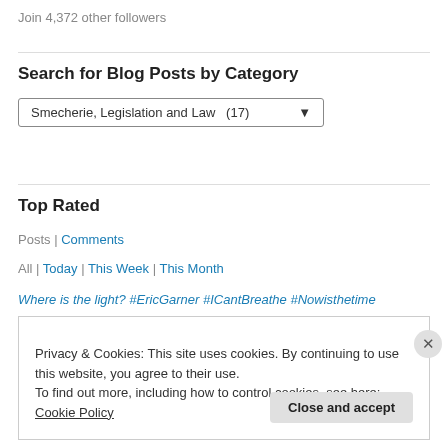Join 4,372 other followers
Search for Blog Posts by Category
Smecherie, Legislation and Law  (17)
Top Rated
Posts | Comments
All | Today | This Week | This Month
Where is the light? #EricGarner #ICantBreathe #Nowisthetime
Privacy & Cookies: This site uses cookies. By continuing to use this website, you agree to their use.
To find out more, including how to control cookies, see here: Cookie Policy
Close and accept